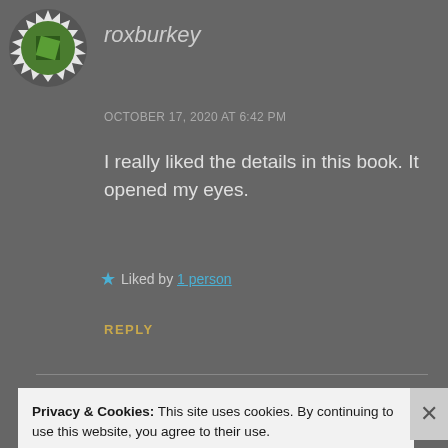[Figure (illustration): Circular avatar image with green geometric pattern on dark background, bordered by white leaf/star decorative edge]
roxburkey
OCTOBER 17, 2020 AT 6:42 PM
I really liked the details in this book. It opened my eyes.
★ Liked by 1 person
REPLY
Privacy & Cookies: This site uses cookies. By continuing to use this website, you agree to their use.
To find out more, including how to control cookies, see here: Cookie Policy
Close and accept